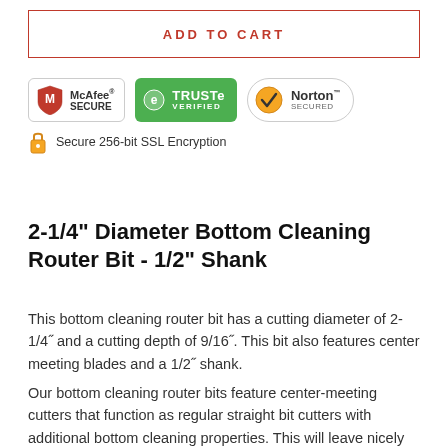ADD TO CART
[Figure (logo): Trust badges row: McAfee SECURE, TRUSTe VERIFIED, Norton SECURED, and Secure 256-bit SSL Encryption padlock icon]
2-1/4" Diameter Bottom Cleaning Router Bit - 1/2" Shank
This bottom cleaning router bit has a cutting diameter of 2-1/4" and a cutting depth of 9/16". This bit also features center meeting blades and a 1/2" shank.
Our bottom cleaning router bits feature center-meeting cutters that function as regular straight bit cutters with additional bottom cleaning properties. This will leave nicely cleaned router bit cuts. This is another one of